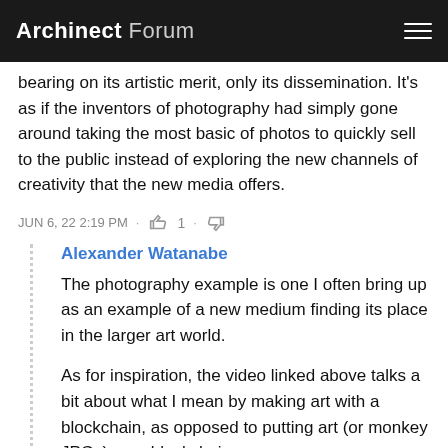Archinect Forum
bearing on its artistic merit, only its dissemination. It's as if the inventors of photography had simply gone around taking the most basic of photos to quickly sell to the public instead of exploring the new channels of creativity that the new media offers.
JUN 6, 22 2:19 PM · 1 ·
Alexander Watanabe
The photography example is one I often bring up as an example of a new medium finding its place in the larger art world.
As for inspiration, the video linked above talks a bit about what I mean by making art with a blockchain, as opposed to putting art (or monkey JPGs) on a blockchain.